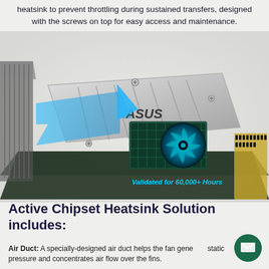heatsink to prevent throttling during sustained transfers, designed with the screws on top for easy access and maintenance.
[Figure (illustration): Exploded 3D render of ASUS Active Chipset Heatsink Solution on a motherboard, showing the heatsink cover with ASUS logo, blue air duct directing airflow, a small cooling fan, and the chipset below. A cyan label reads 'Validated for 60,000+ Hours'.]
Active Chipset Heatsink Solution includes:
Air Duct: A specially-designed air duct helps the fan generate static pressure and concentrates air flow over the fins.